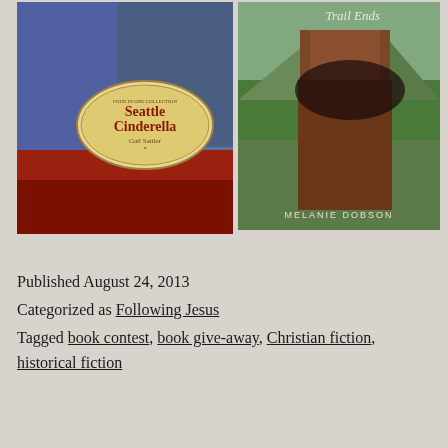[Figure (photo): Two book covers side by side. Left: 'Seattle Cinderella' by Gail Sattler, showing a woman in blue coveralls with a gold oval emblem. Right: A book with 'Trail Ends' visible at top by Melanie Dobson, showing a woman in a Victorian-era brown dress against a mountain landscape.]
Published August 24, 2013
Categorized as Following Jesus
Tagged book contest, book give-away, Christian fiction, historical fiction